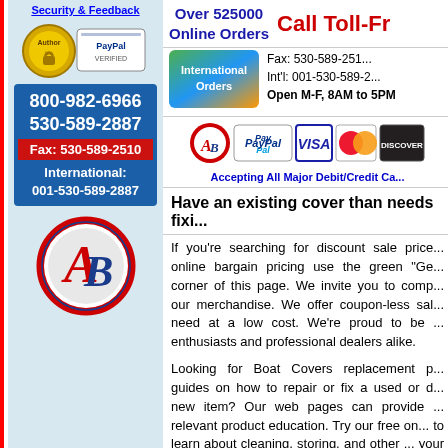Security & Feedback
[Figure (logo): Author and PayPal Verified security badge logos]
800-982-6966
530-589-2887
Fax: 530-589-2510
International:
001-530-589-2887
[Figure (logo): AB circular logo in red and blue]
Over 525000 Online Orders
Call Toll-Fr...
Fax: 530-589-2510
Int'l: 001-530-589-2...
Open M-F, 8AM to 5PM
[Figure (logo): International Orders badge]
[Figure (logo): PayPal, VISA, MasterCard, Discover payment logos]
Accepting All Major Debit/Credit Ca...
Have an existing cover than needs fixi...
If you're searching for discount sale price... online bargain pricing use the green "Ge... corner of this page. We invite you to comp... our merchandise. We offer coupon-less sal... need at a low cost. We're proud to be ... enthusiasts and professional dealers alike.
Looking for Boat Covers replacement p... guides on how to repair or fix a used or ... new item? Our web pages can provide ... relevant product education. Try our free on... to learn about cleaning, storing, and other ... your purchase.